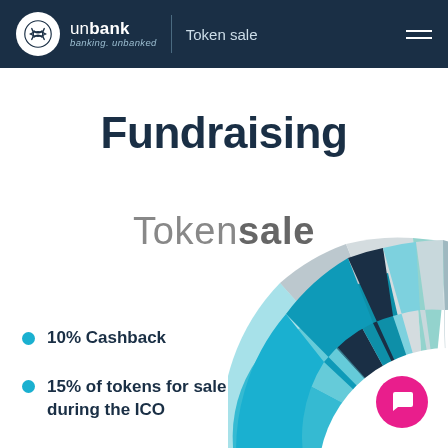unbank | Token sale
Fundraising
Tokensale
[Figure (donut-chart): Partial donut/pie chart showing token distribution segments in teal, dark navy, light blue, and grey colors, partially cropped at bottom-right corner of page]
10% Cashback
15% of tokens for sale during the ICO